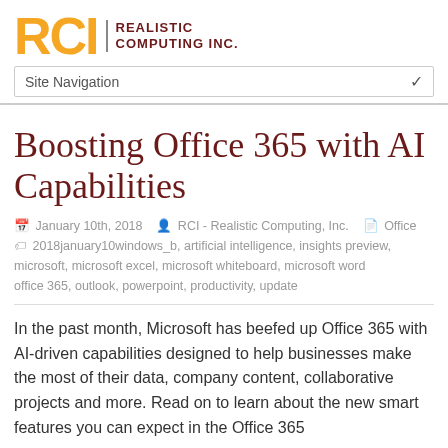RCI Realistic Computing Inc. | Site Navigation
Boosting Office 365 with AI Capabilities
January 10th, 2018  RCI - Realistic Computing, Inc.  Office 2018january10windows_b, artificial intelligence, insights preview, microsoft, microsoft excel, microsoft whiteboard, microsoft word office 365, outlook, powerpoint, productivity, update
In the past month, Microsoft has beefed up Office 365 with AI-driven capabilities designed to help businesses make the most of their data, company content, collaborative projects and more. Read on to learn about the new smart features you can expect in the Office 365